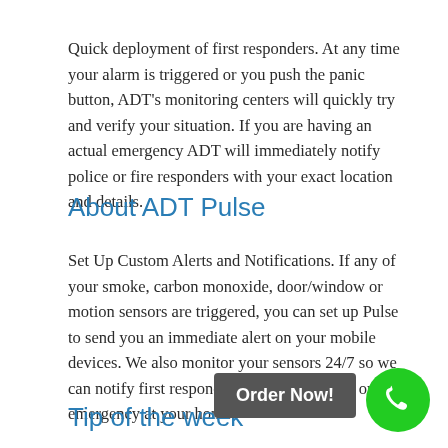Quick deployment of first responders. At any time your alarm is triggered or you push the panic button, ADT's monitoring centers will quickly try and verify your situation. If you are having an actual emergency ADT will immediately notify police or fire responders with your exact location and details.
About ADT Pulse
Set Up Custom Alerts and Notifications. If any of your smoke, carbon monoxide, door/window or motion sensors are triggered, you can set up Pulse to send you an immediate alert on your mobile devices. We also monitor your sensors 24/7 so we can notify first responders if there's a threat or emergency at your home.
Tip of the week
Order Now!